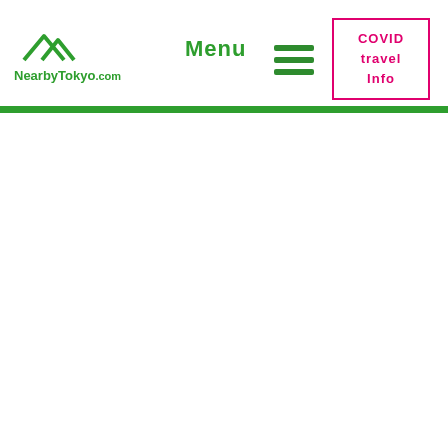[Figure (logo): NearbyTokyo.com logo with green mountain/roof icon and green text]
Menu
[Figure (other): Hamburger menu icon with three green horizontal lines]
COVID travel Info